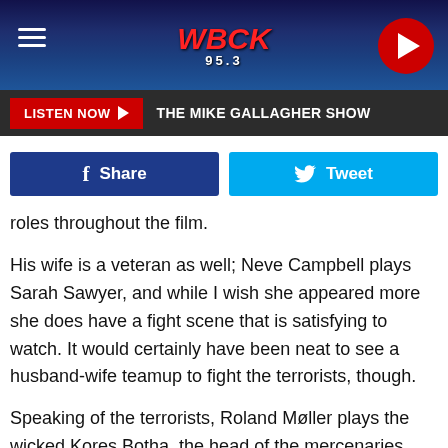WBCK 95.3
LISTEN NOW ▶  THE MIKE GALLAGHER SHOW
Share  Tweet
roles throughout the film.
His wife is a veteran as well; Neve Campbell plays Sarah Sawyer, and while I wish she appeared more she does have a fight scene that is satisfying to watch. It would certainly have been neat to see a husband-wife teamup to fight the terrorists, though.
Speaking of the terrorists, Roland Møller plays the wicked Kores Botha, the head of the mercenaries who fills the Hans Gruber role in Skyscraper. Instead of being German, he's Scandinavian, but I guess they couldn't make this film if they